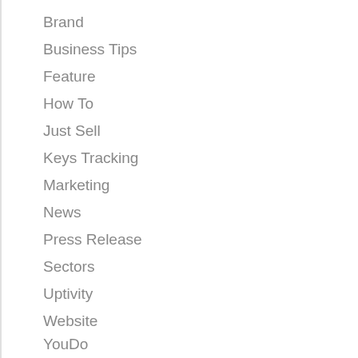Brand
Business Tips
Feature
How To
Just Sell
Keys Tracking
Marketing
News
Press Release
Sectors
Uptivity
Website
YouDo